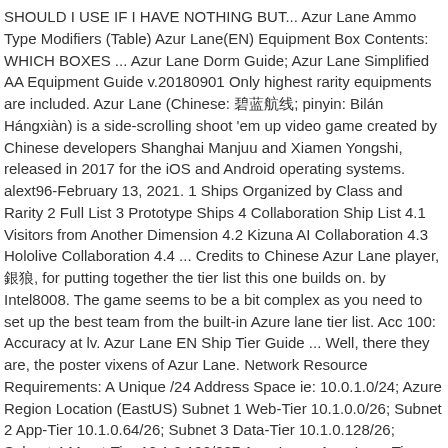SHOULD I USE IF I HAVE NOTHING BUT... Azur Lane Ammo Type Modifiers (Table) Azur Lane(EN) Equipment Box Contents: WHICH BOXES ... Azur Lane Dorm Guide; Azur Lane Simplified AA Equipment Guide v.20180901 Only highest rarity equipments are included. Azur Lane (Chinese: 碧蓝航线; pinyin: Bilán Hángxiàn) is a side-scrolling shoot 'em up video game created by Chinese developers Shanghai Manjuu and Xiamen Yongshi, released in 2017 for the iOS and Android operating systems. alext96-February 13, 2021. 1 Ships Organized by Class and Rarity 2 Full List 3 Prototype Ships 4 Collaboration Ship List 4.1 Visitors from Another Dimension 4.2 Kizuna AI Collaboration 4.3 Hololive Collaboration 4.4 ... Credits to Chinese Azur Lane player, 銀狼, for putting together the tier list this one builds on. by Intel8008. The game seems to be a bit complex as you need to set up the best team from the built-in Azure lane tier list. Acc 100: Accuracy at lv. Azur Lane EN Ship Tier Guide ... Well, there they are, the poster vixens of Azur Lane. Network Resource Requirements: A Unique /24 Address Space ie: 10.0.1.0/24; Azure Region Location (EastUS) Subnet 1 Web-Tier 10.1.0.0/26; Subnet 2 App-Tier 10.1.0.64/26; Subnet 3 Data-Tier 10.1.0.128/26; Subnet 4 Mgmt-Tier 10.1.0.192/287 Azur Lane. Azur Lane Tier List: A Complete Guide to the Best Ships. Fandom Apps Take your